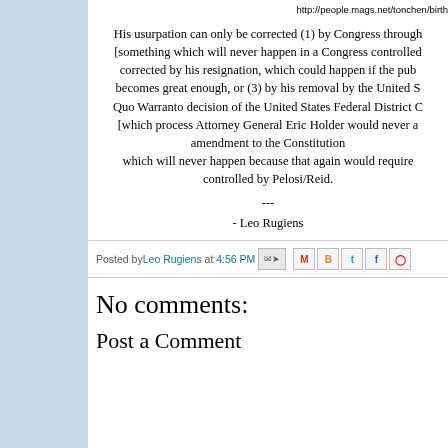http://people.mags.net/tonchen/birth
His usurpation can only be corrected (1) by Congress through [something which will never happen in a Congress controlled corrected by his resignation, which could happen if the pub becomes great enough, or (3) by his removal by the United S Quo Warranto decision of the United States Federal District C [which process Attorney General Eric Holder would never a amendment to the Constitution which will never happen because that again would require controlled by Pelosi/Reid.
---
- Leo Rugiens
Posted by Leo Rugiens at 4:56 PM
No comments:
Post a Comment